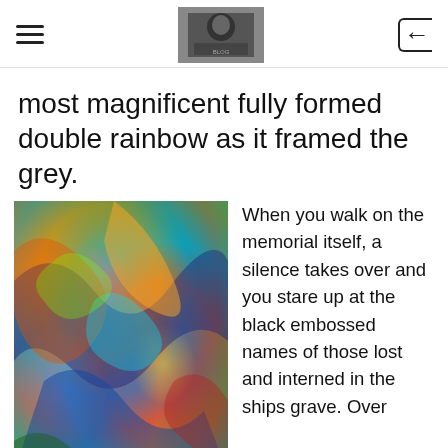[hamburger menu] [header logo image] [back button]
most magnificent fully formed double rainbow as it framed the grey.
[Figure (photo): Colorful iridescent abstract image with swirling patterns of blue, orange, red, green, yellow and pink — resembling an oil slick or polarized light through crystal.]
When you walk on the memorial itself, a silence takes over and you stare up at the black embossed names of those lost and interned in the ships grave. Over